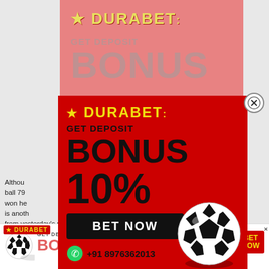[Figure (screenshot): Background article text partially visible behind ad popup, showing text starting with 'Althou...' mentioning 44-ball 79, 'itely won he', 'there is anoth', 'out from yesterday's match. A heartwarming moment between']
[Figure (infographic): Faded pink/salmon background top portion of DURABET ad showing logo in yellow, GET DEPOSIT text, and large BONUS text in gray]
[Figure (infographic): Main DURABET red popup ad showing yellow DURABET logo, GET DEPOSIT text, BONUS 10% in large black text, BET NOW black button, soccer ball graphic, WhatsApp number +91 8976362013, and close X button]
[Figure (infographic): Bottom banner strip showing DURABET logo, soccer ball, GET DEPOSIT label, BONUS 10% in pink text, BET NOW button in red/yellow, www.durabet.com URL, WhatsApp +91 8976362013, and X close button]